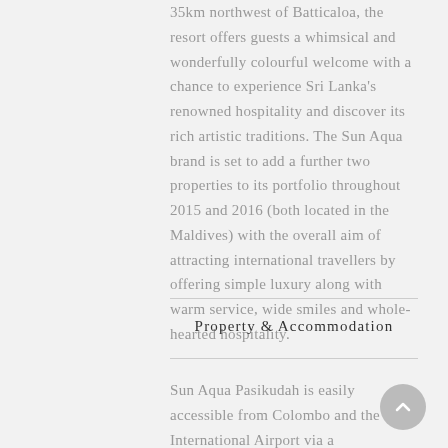35km northwest of Batticaloa, the resort offers guests a whimsical and wonderfully colourful welcome with a chance to experience Sri Lanka's renowned hospitality and discover its rich artistic traditions. The Sun Aqua brand is set to add a further two properties to its portfolio throughout 2015 and 2016 (both located in the Maldives) with the overall aim of attracting international travellers by offering simple luxury along with warm service, wide smiles and whole-hearted hospitality.
Property & Accommodation
Sun Aqua Pasikudah is easily accessible from Colombo and the International Airport via a